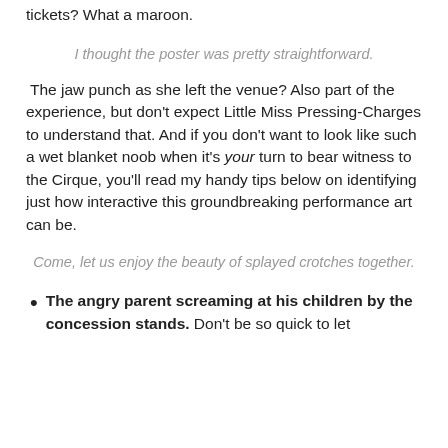tickets? What a maroon.
I thought the poster was pretty straightforward.
The jaw punch as she left the venue? Also part of the experience, but don't expect Little Miss Pressing-Charges to understand that. And if you don't want to look like such a wet blanket noob when it's your turn to bear witness to the Cirque, you'll read my handy tips below on identifying just how interactive this groundbreaking performance art can be.
Come, let us enjoy the beauty of splayed crotches together.
The angry parent screaming at his children by the concession stands. Don't be so quick to let